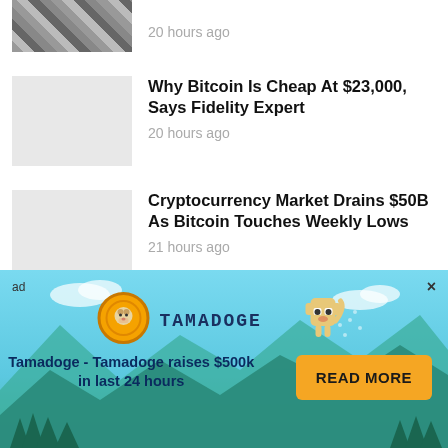[Figure (photo): Partially visible thumbnail image at top, appears to be a dark/checkered pattern]
20 hours ago
Why Bitcoin Is Cheap At $23,000, Says Fidelity Expert
20 hours ago
Cryptocurrency Market Drains $50B As Bitcoin Touches Weekly Lows
21 hours ago
Flippening Forewarning? Ether Options Overtake Bitcoin As The Top Crypto To Trade
2 days ago
Bitcoin May Hit $10K As Price Slides Pre-
[Figure (infographic): Tamadoge advertisement banner with teal/sky background, mountains, Tamadoge logo, coin icon, Shiba Inu dog pixel art, tagline 'Tamadoge - Tamadoge raises $500k in last 24 hours' and READ MORE button]